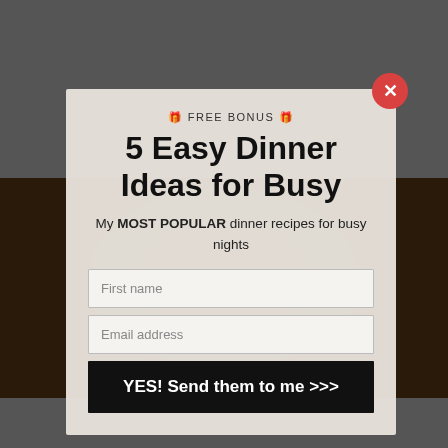[Figure (screenshot): Dark gray background with a food photo strip behind a modal popup overlay]
🎁 FREE BONUS 🎁
5 Easy Dinner Ideas for Busy
My MOST POPULAR dinner recipes for busy nights
First name
Email address
YES! Send them to me >>>